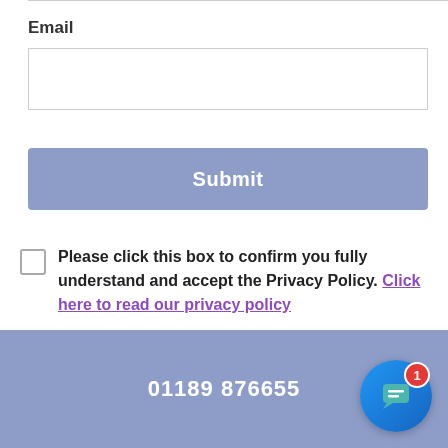Email
[Email input field]
Submit
Please click this box to confirm you fully understand and accept the Privacy Policy. Click here to read our privacy policy
01189 876655